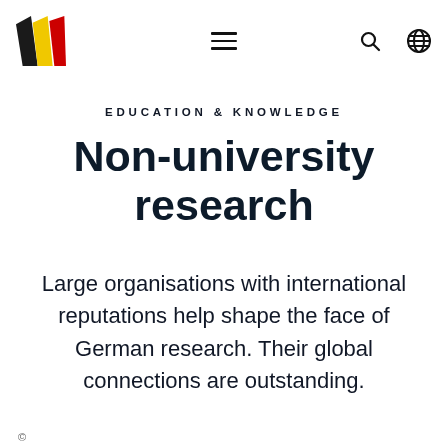Logo and navigation icons (menu, search, globe)
EDUCATION & KNOWLEDGE
Non-university research
Large organisations with international reputations help shape the face of German research. Their global connections are outstanding.
© ...